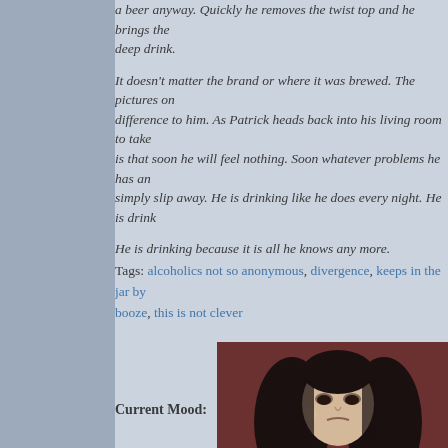a beer anyway. Quickly he removes the twist top and he brings the deep drink.
It doesn't matter the brand or where it was brewed. The pictures on difference to him. As Patrick heads back into his living room to take is that soon he will feel nothing. Soon whatever problems he has an simply slip away. He is drinking like he does every night. He is drink
He is drinking because it is all he knows any more.
Tags: alcoholics not so anonymous, divergence, keeps in the jar by booze, this is not clever
[Figure (photo): A gloomy-looking person with dark long hair and pale skin, appearing discontented, on a dark reddish-brown background.]
Current Mood: discontent